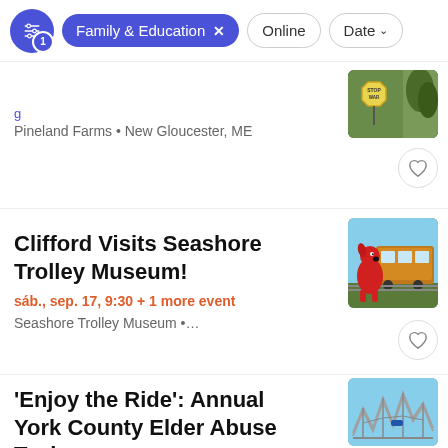[Figure (screenshot): Filter bar with sliders icon, 'Family & Education x' pill, 'Online' pill, 'Date' dropdown]
Pineland Farms • New Gloucester, ME
[Figure (photo): Photo of a stop sign in wooded area]
Clifford Visits Seashore Trolley Museum!
sáb., sep. 17, 9:30 + 1 more event
Seashore Trolley Museum •...
[Figure (photo): Photo of Clifford the Big Red Dog character with orange trolley car]
'Enjoy the Ride': Annual York County Elder Abuse Task